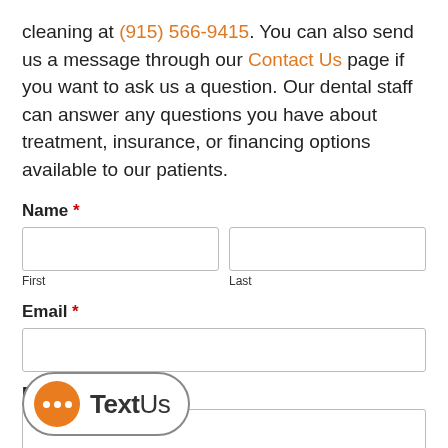cleaning at (915) 566-9415. You can also send us a message through our Contact Us page if you want to ask us a question. Our dental staff can answer any questions you have about treatment, insurance, or financing options available to our patients.
Name *
First
Last
Email *
Phone Number *
[Figure (logo): TextUs logo — orange circular speech bubble with three dots, beside the text 'TextUs' in dark gray, enclosed in a rounded rectangle border]